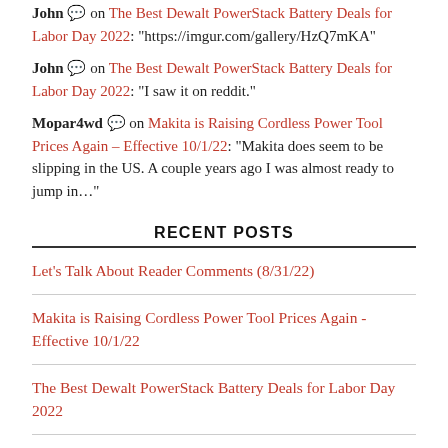John 💬 on The Best Dewalt PowerStack Battery Deals for Labor Day 2022: "https://imgur.com/gallery/HzQ7mKA"
John 💬 on The Best Dewalt PowerStack Battery Deals for Labor Day 2022: "I saw it on reddit."
Mopar4wd 💬 on Makita is Raising Cordless Power Tool Prices Again – Effective 10/1/22: "Makita does seem to be slipping in the US. A couple years ago I was almost ready to jump in..."
RECENT POSTS
Let's Talk About Reader Comments (8/31/22)
Makita is Raising Cordless Power Tool Prices Again - Effective 10/1/22
The Best Dewalt PowerStack Battery Deals for Labor Day 2022
Today's Tool Deals (8/30/22)